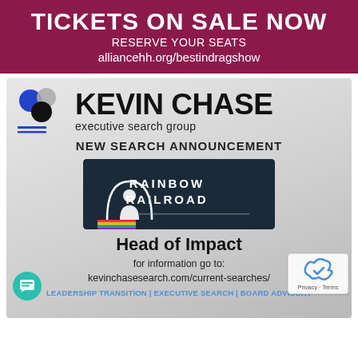TICKETS ON SALE NOW
RESERVE YOUR SEATS
alliancehh.org/bestindragshow
[Figure (logo): Kevin Chase Executive Search Group logo with overlapping colored circles (blue, gray, black) and blue underline bars]
NEW SEARCH ANNOUNCEMENT
[Figure (logo): Rainbow Railroad logo: dark navy background with white arch/tunnel icon and rainbow stripe line, text RAINBOW RAILROAD]
Head of Impact
for information go to:
kevinchasesearch.com/current-searches/
LEADERSHIP TRANSITION | EXECUTIVE SEARCH | BOARD ADVISORY